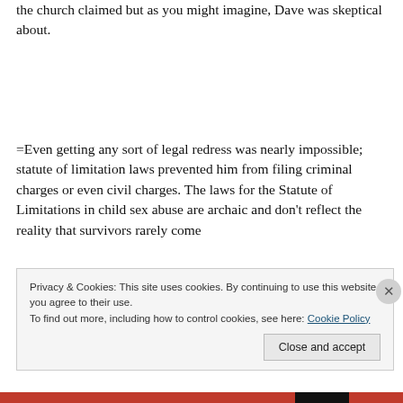the church claimed but as you might imagine, Dave was skeptical about.
=Even getting any sort of legal redress was nearly impossible; statute of limitation laws prevented him from filing criminal charges or even civil charges. The laws for the Statute of Limitations in child sex abuse are archaic and don't reflect the reality that survivors rarely come
Privacy & Cookies: This site uses cookies. By continuing to use this website, you agree to their use.
To find out more, including how to control cookies, see here: Cookie Policy
Close and accept